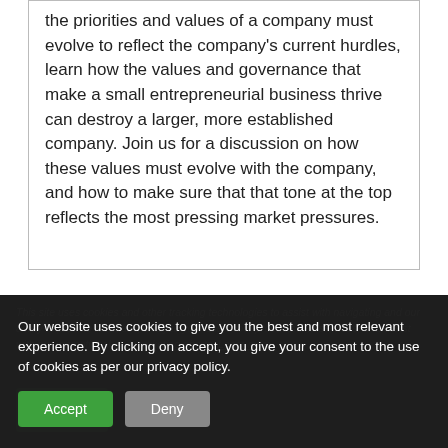the priorities and values of a company must evolve to reflect the company's current hurdles, learn how the values and governance that make a small entrepreneurial business thrive can destroy a larger, more established company. Join us for a discussion on how these values must evolve with the company, and how to make sure that that tone at the top reflects the most pressing market pressures.
Our website uses cookies to give you the best and most relevant experience. By clicking on accept, you give your consent to the use of cookies as per our privacy policy.